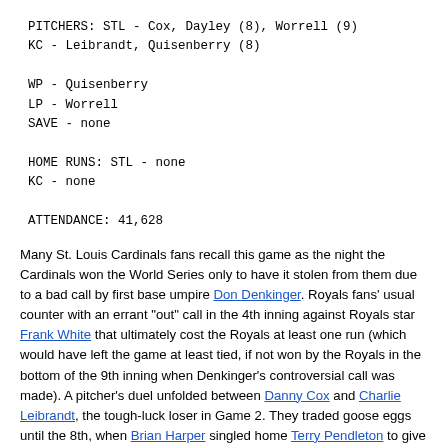PITCHERS: STL - Cox, Dayley (8), Worrell (9)
KC - Leibrandt, Quisenberry (8)

WP - Quisenberry
LP - Worrell
SAVE - none

HOME RUNS: STL - none
KC - none

ATTENDANCE: 41,628
Many St. Louis Cardinals fans recall this game as the night the Cardinals won the World Series only to have it stolen from them due to a bad call by first base umpire Don Denkinger. Royals fans' usual counter with an errant "out" call in the 4th inning against Royals star Frank White that ultimately cost the Royals at least one run (which would have left the game at least tied, if not won by the Royals in the bottom of the 9th inning when Denkinger's controversial call was made). A pitcher's duel unfolded between Danny Cox and Charlie Leibrandt, the tough-luck loser in Game 2. They traded goose eggs until the 8th, when Brian Harper singled home Terry Pendleton to give the Cardinals the lead and inside track for the title. But the bottom of the 9th featured controversy and a collapse by the Cardinals.